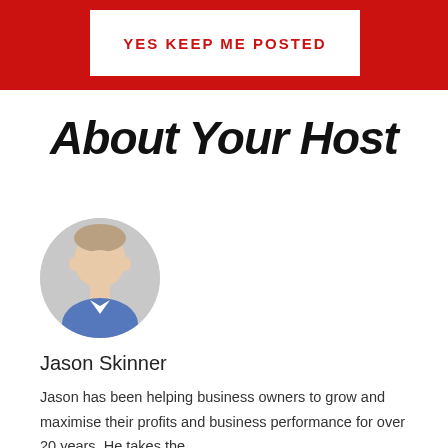YES KEEP ME POSTED
About Your Host
[Figure (photo): Circular headshot photo of Jason Skinner, a smiling man in a blue checkered shirt against a light background]
Jason Skinner
Jason has been helping business owners to grow and maximise their profits and business performance for over 20 years. He takes the